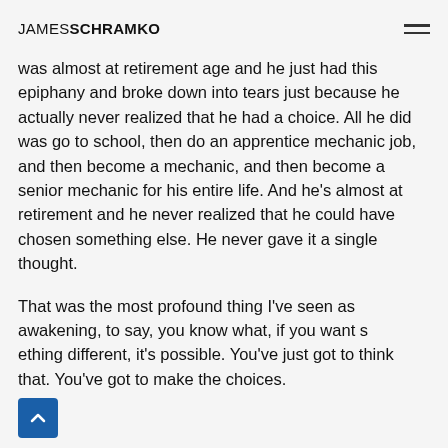JAMES SCHRAMKO
was almost at retirement age and he just had this epiphany and broke down into tears just because he actually never realized that he had a choice. All he did was go to school, then do an apprentice mechanic job, and then become a mechanic, and then become a senior mechanic for his entire life. And he’s almost at retirement and he never realized that he could have chosen something else. He never gave it a single thought.
That was the most profound thing I’ve seen as awakening, to say, you know what, if you want something different, it’s possible. You’ve just got to think that. You’ve got to make the choices.